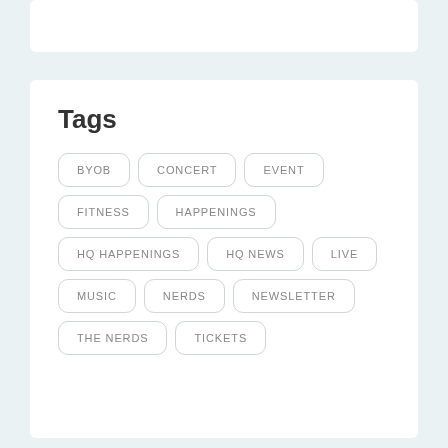Tags
BYOB
CONCERT
EVENT
FITNESS
HAPPENINGS
HQ HAPPENINGS
HQ NEWS
LIVE
MUSIC
NERDS
NEWSLETTER
THE NERDS
TICKETS